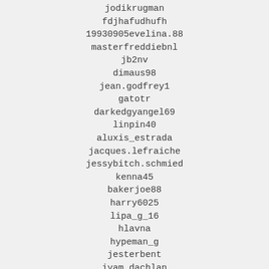jodikrugman
fdjhafudhufh
19930905evelina.88
masterfreddiebnl
jb2nv
dimaus98
jean.godfrey1
gatotr
darkedgyangel69
linpin40
aluxis_estrada
jacques.lefraiche
jessybitch.schmied
kenna45
bakerjoe88
harry6025
lipa_g_16
hlavna
hypeman_g
jesterbent
iyam_dachlan
karmajk
faraway_brokenhearted
antz0366